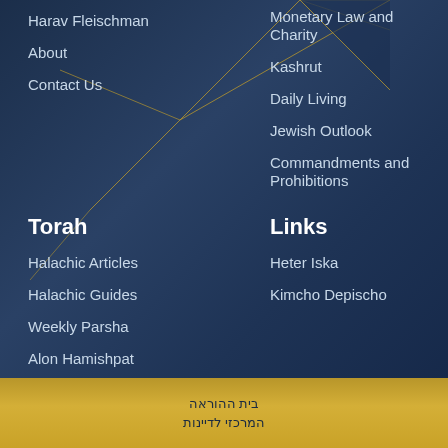Harav Fleischman
About
Contact Us
Monetary Law and Charity
Kashrut
Daily Living
Jewish Outlook
Commandments and Prohibitions
Torah
Halachic Articles
Halachic Guides
Weekly Parsha
Alon Hamishpat
Links
Heter Iska
Kimcho Depischo
בית ההוראה המרכזי לדיינות